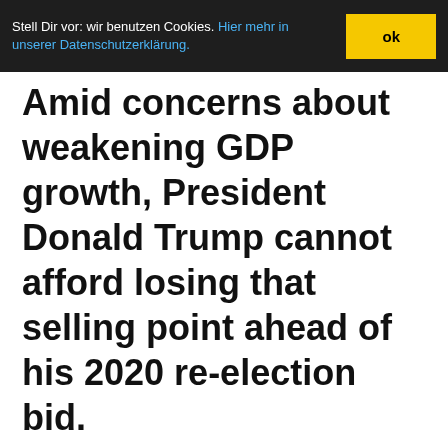Stell Dir vor: wir benutzen Cookies. Hier mehr in unserer Datenschutzerklärung. ok
Amid concerns about weakening GDP growth, President Donald Trump cannot afford losing that selling point ahead of his 2020 re-election bid.
Nachrichten Kategorie: Kapital / Capital. Nachrichten Schlagwörter: capital / capitalism, central banks, democracy, economy / economic cycles, Fed (US